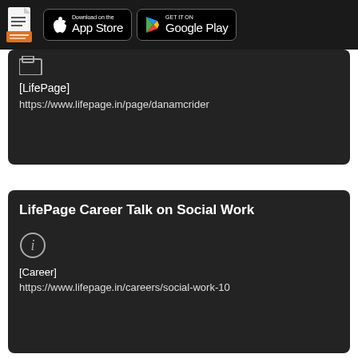App Store | Google Play navigation bar
[Figure (screenshot): Document/file icon (white lines on orange base)]
[LifePage]
https://www.lifepage.in/page/danamcrider
LifePage Career Talk on Social Work
[Figure (illustration): Circled letter i (info icon)]
[Career]
https://www.lifepage.in/careers/social-work-10